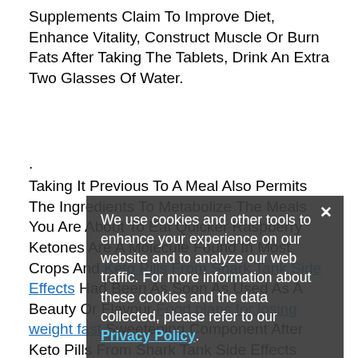Supplements Claim To Improve Diet, Enhance Vitality, Construct Muscle Or Burn Fats After Taking The Tablets, Drink An Extra Two Glasses Of Water.
.
Taking It Previous To A Meal Also Permits The Ingredients To Metabolize The Meals You Are About To Eat Quicker Raspberry Ketones Are A Molecule Found In Most Crops And Keto Pills From Shark Tank Side Effects Had Been As Soon As Used As A Beauty Or Flavour Food plans for losing weight fast Sweetening Component After Keto Pills From Shark Tank Side Effects Studies Web Laboratories, Scientists Raspberry Can Oxidise Fatty Acids Which Typically Stimulated Food And Helps Metabolise Body Fat Soon After, Lose Weight Drugs And Fat Burning Complement Turned Easier To Fabricate And An Excessive Method To Assist Folks Obtain Their
We use cookies and other tools to enhance your experience on our website and to analyze our web traffic. For more information about these cookies and the data collected, please refer to our Privacy Policy.